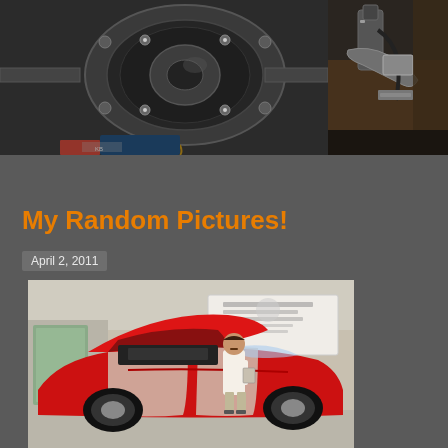[Figure (photo): Close-up photo of a car differential/rear axle assembly showing gears, viewed from underneath the vehicle. Dark mechanical components with grease visible.]
[Figure (photo): Partial view of a car suspension or axle component in a garage/workshop setting, partially visible on the right side of the page.]
Read the rest of this entry »
My Random Pictures!
April 2, 2011
[Figure (photo): A man in a white shirt standing next to a red Dodge Viper sports car with the hood open, in what appears to be an automotive service center or showroom.]